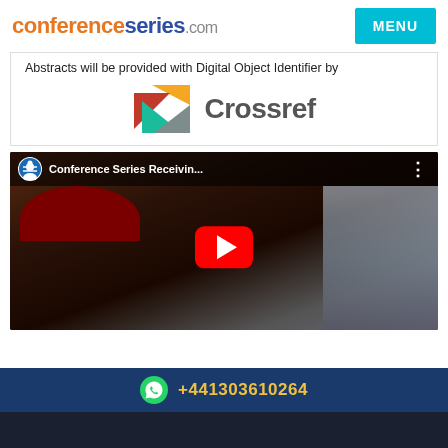conferenceseries.com
Abstracts will be provided with Digital Object Identifier by
[Figure (logo): Crossref logo with colorful arrow/triangle icon and 'Crossref' wordmark in gray]
[Figure (screenshot): YouTube video thumbnail showing 'Conference Series Receivin...' with a person wearing a dark red beret, YouTube play button overlay]
+441303610264